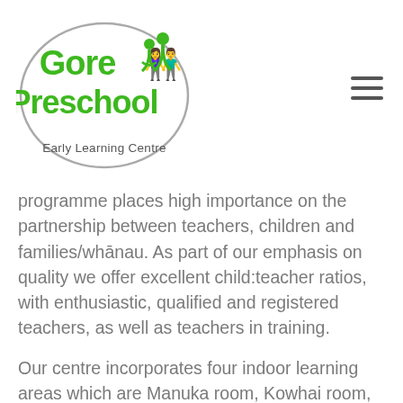Gore Preschool Early Learning Centre
programme places high importance on the partnership between teachers, children and families/whānau. As part of our emphasis on quality we offer excellent child:teacher ratios, with enthusiastic, qualified and registered teachers, as well as teachers in training.
Our centre incorporates four indoor learning areas which are Manuka room, Kowhai room, Rata room and Matai room, and two separate outdoor play areas for Juniors and Seniors. The large, spacious grounds feature an exciting locally designed and crafted playground, reflecting many aspects of the